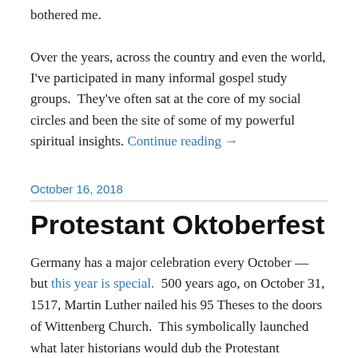bothered me.

Over the years, across the country and even the world, I've participated in many informal gospel study groups. They've often sat at the core of my social circles and been the site of some of my powerful spiritual insights. Continue reading →
October 16, 2018
Protestant Oktoberfest
Germany has a major celebration every October — but this year is special.  500 years ago, on October 31, 1517, Martin Luther nailed his 95 Theses to the doors of Wittenberg Church.  This symbolically launched what later historians would dub the Protestant Reformation.